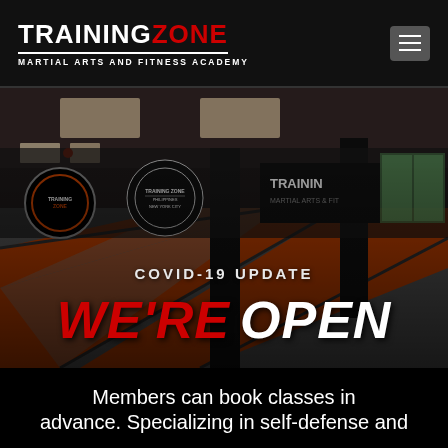[Figure (logo): Training Zone Martial Arts and Fitness Academy logo — white text TRAINING, red text ZONE, white underline, white subtitle text MARTIAL ARTS AND FITNESS ACADEMY]
[Figure (photo): Interior of a martial arts gym with orange and gray padded floor mats, black pillars, Training Zone wall graphics/logos, and ceiling lights]
COVID-19 UPDATE
WE'RE OPEN
Members can book classes in advance. Specializing in self-defense and